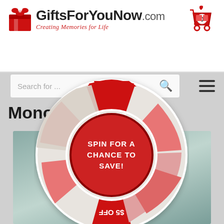[Figure (logo): GiftsForYouNow.com logo with red gift box icon and tagline 'Creating Memories for Life']
[Figure (screenshot): Shopping cart icon with 0 items badge]
Search for ...
Mono
[Figure (infographic): Spin wheel promotional overlay with sections: $10 OFF ORDERS OVER $50 (top, red), FREE SHIPPING (right, light red/pink), $5 OFF (bottom, red inverted text), FREE GIFT WITH PURCHASE (left, gray). Center red button reads SPIN FOR A CHANCE TO SAVE!]